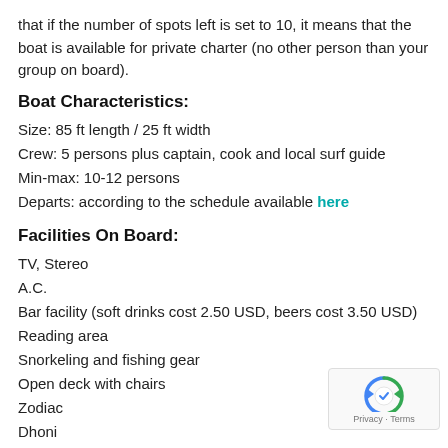that if the number of spots left is set to 10, it means that the boat is available for private charter (no other person than your group on board).
Boat Characteristics:
Size: 85 ft length / 25 ft width
Crew: 5 persons plus captain, cook and local surf guide
Min-max: 10-12 persons
Departs: according to the schedule available here
Facilities On Board:
TV, Stereo
A.C.
Bar facility (soft drinks cost 2.50 USD, beers cost 3.50 USD)
Reading area
Snorkeling and fishing gear
Open deck with chairs
Zodiac
Dhoni